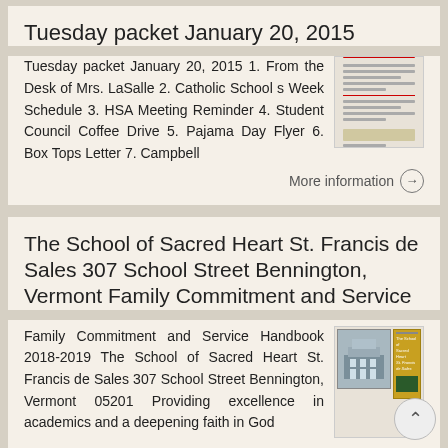Tuesday packet January 20, 2015
Tuesday packet January 20, 2015 1. From the Desk of Mrs. LaSalle 2. Catholic School s Week Schedule 3. HSA Meeting Reminder 4. Student Council Coffee Drive 5. Pajama Day Flyer 6. Box Tops Letter 7. Campbell
More information →
The School of Sacred Heart St. Francis de Sales 307 School Street Bennington, Vermont Family Commitment and Service
Family Commitment and Service Handbook 2018-2019 The School of Sacred Heart St. Francis de Sales 307 School Street Bennington, Vermont 05201 Providing excellence in academics and a deepening faith in God